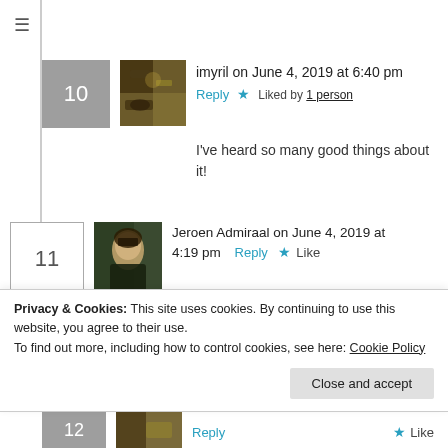≡
imyril on June 4, 2019 at 6:40 pm
Reply  ★ Liked by 1 person
I've heard so many good things about it!
Jeroen Admiraal on June 4, 2019 at 4:19 pm   Reply  ★ Like
I'm doing rereads of Earthsea and The Dying Earth while stuck at home. And I'll
Privacy & Cookies: This site uses cookies. By continuing to use this website, you agree to their use.
To find out more, including how to control cookies, see here: Cookie Policy
Close and accept